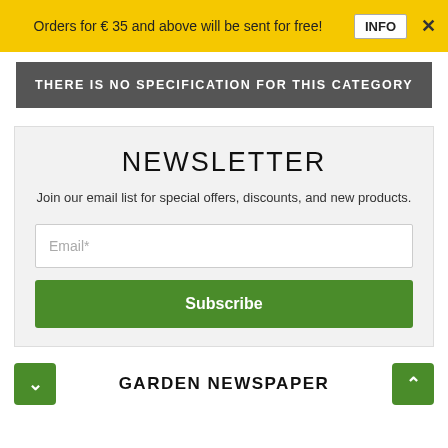Orders for € 35 and above will be sent for free!   INFO   ×
THERE IS NO SPECIFICATION FOR THIS CATEGORY
NEWSLETTER
Join our email list for special offers, discounts, and new products.
Email*
Subscribe
GARDEN NEWSPAPER